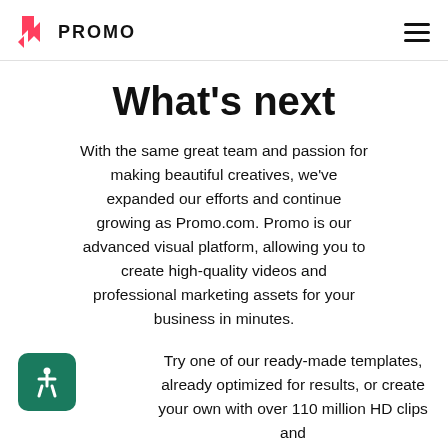PROMO
What's next
With the same great team and passion for making beautiful creatives, we've expanded our efforts and continue growing as Promo.com. Promo is our advanced visual platform, allowing you to create high-quality videos and professional marketing assets for your business in minutes.
Try one of our ready-made templates, already optimized for results, or create your own with over 110 million HD clips and photos to choose from. Customize your
[Figure (logo): Green accessibility icon on dark green rounded square background]